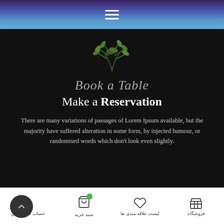Navigation bar with hamburger menu icon
[Figure (illustration): Green plant/herb sprig on dark background]
Book a Table
Make a Reservation
There are many variations of passages of Lorem Ipsum available, but the majority have suffered alteration in some form, by injected humour, or randomised words which don't look even slightly.
۰۷/۱۹/۲۰۱۹
حساب کاربری من | سبد خرید | لیست علاقه مندی ها | فروشگاه